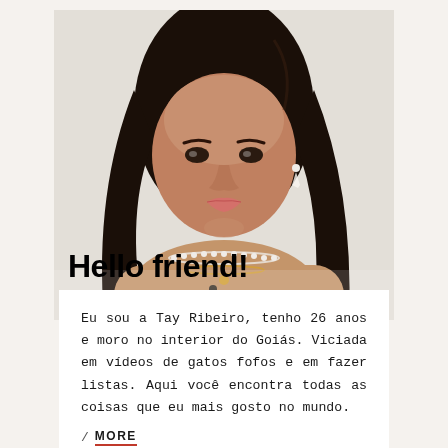[Figure (photo): Portrait photo of a young Brazilian woman with long dark hair, pearl choker necklace, gold pendant necklace, and butterfly earrings, against a light background.]
Hello friend!
Eu sou a Tay Ribeiro, tenho 26 anos e moro no interior do Goiás. Viciada em vídeos de gatos fofos e em fazer listas. Aqui você encontra todas as coisas que eu mais gosto no mundo.
/ MORE